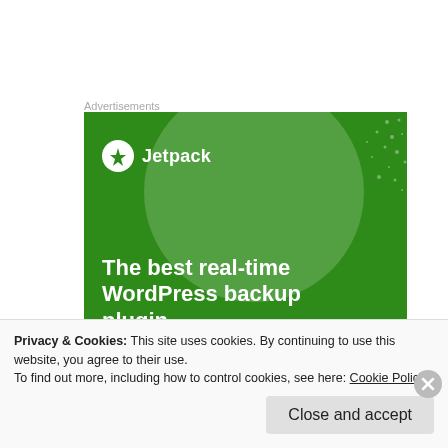Advertisements
[Figure (illustration): Jetpack advertisement banner with green background showing Jetpack logo and text: The best real-time WordPress backup plugin]
Now I come to a somewhat contentious piece of
Privacy & Cookies: This site uses cookies. By continuing to use this website, you agree to their use.
To find out more, including how to control cookies, see here: Cookie Policy
Close and accept